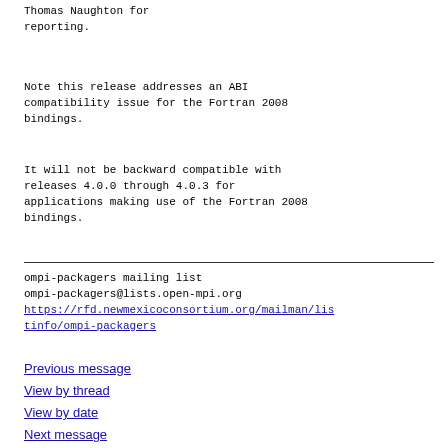Thomas Naughton for
reporting.
Note this release addresses an ABI
compatibility issue for the Fortran 2008
bindings.
It will not be backward compatible with
releases 4.0.0 through 4.0.3 for
applications making use of the Fortran 2008
bindings.
ompi-packagers mailing list
ompi-packagers@lists.open-mpi.org
https://rfd.newmexicoconsortium.org/mailman/listinfo/ompi-packagers
Previous message
View by thread
View by date
Next message